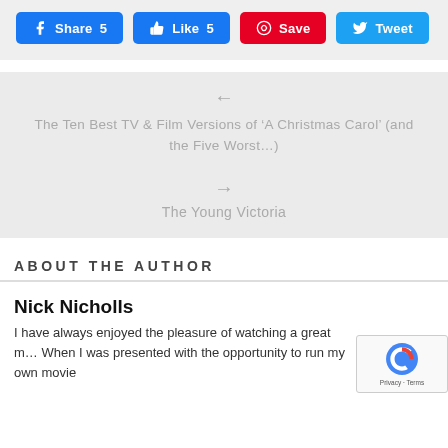[Figure (screenshot): Social sharing buttons: Facebook Share 5, Like 5, Pinterest Save, Twitter Tweet]
← The Ten Best TV & Film Versions of 'A Christmas Carol' (and the Five Worst...)
→ The Young Victoria
ABOUT THE AUTHOR
Nick Nicholls
I have always enjoyed the pleasure of watching a great m... When I was presented with the opportunity to run my own movie...